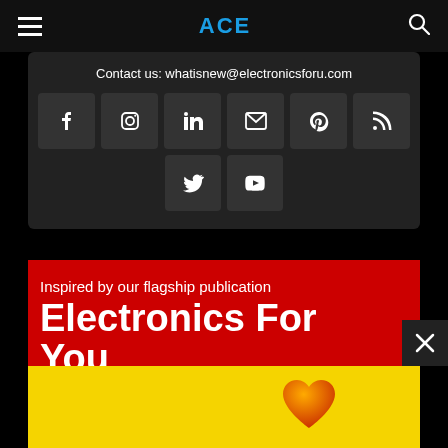ACE
Contact us: whatisnew@electronicsforu.com
[Figure (other): Social media icon buttons: Facebook, Instagram, LinkedIn, Email, Pinterest, RSS, Twitter, YouTube]
Inspired by our flagship publication
Electronics For You
South Asia's Most Popular Electronics Magazine
[Figure (other): Yellow banner with orange heart icon and partial image at bottom]